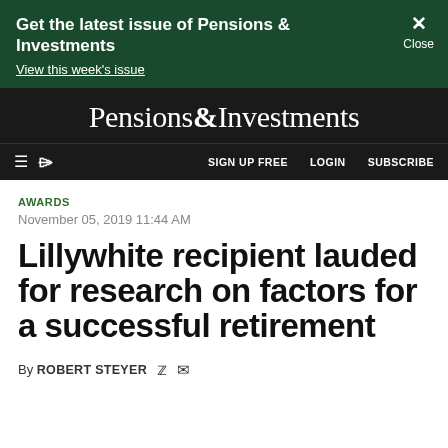Get the latest issue of Pensions & Investments
View this week's issue
Pensions&Investments
≡  Q    SIGN UP FREE    LOGIN    SUBSCRIBE
AWARDS
November 05, 2019 11:44 AM
Lillywhite recipient lauded for research on factors for a successful retirement
By ROBERT STEYER